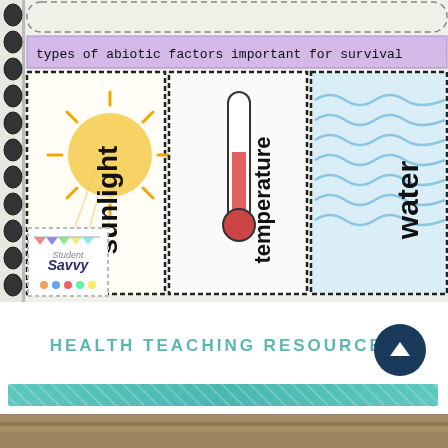[Figure (photo): Educational notebook page showing cards about types of abiotic factors important for survival. Cards show 'sunlight' with sun illustration, 'temperature' with thermometer illustration, and 'water' with water illustration. Student Savvy brand logo visible in bottom left. Purple banner header at top.]
HEALTH TEACHING RESOURCES
[Figure (photo): Partial bottom strip showing wooden surface background.]